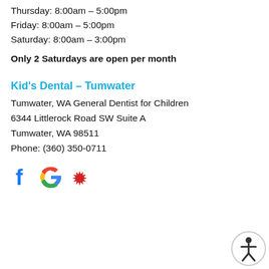Thursday: 8:00am – 5:00pm
Friday: 8:00am – 5:00pm
Saturday: 8:00am – 3:00pm
Only 2 Saturdays are open per month
Kid's Dental – Tumwater
Tumwater, WA General Dentist for Children
6344 Littlerock Road SW Suite A
Tumwater, WA 98511
Phone: (360) 350-0711
[Figure (logo): Social media icons: Facebook, Google, Yelp]